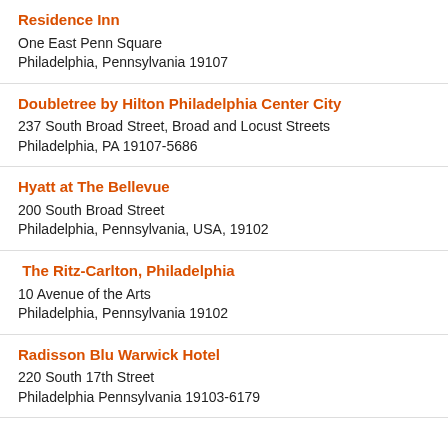Residence Inn
One East Penn Square
Philadelphia, Pennsylvania 19107
Doubletree by Hilton Philadelphia Center City
237 South Broad Street, Broad and Locust Streets
Philadelphia, PA 19107-5686
Hyatt at The Bellevue
200 South Broad Street
Philadelphia, Pennsylvania, USA, 19102
The Ritz-Carlton, Philadelphia
10 Avenue of the Arts
Philadelphia, Pennsylvania 19102
Radisson Blu Warwick Hotel
220 South 17th Street
Philadelphia Pennsylvania 19103-6179